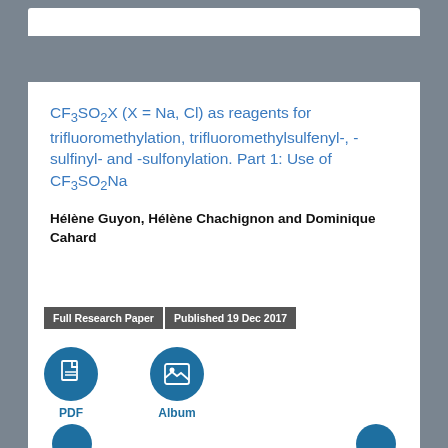CF3SO2X (X = Na, Cl) as reagents for trifluoromethylation, trifluoromethylsulfenyl-, -sulfinyl- and -sulfonylation. Part 1: Use of CF3SO2Na
Hélène Guyon, Hélène Chachignon and Dominique Cahard
Full Research Paper   Published 19 Dec 2017
[Figure (infographic): Two circular icon buttons: PDF (document icon) and Album (image icon), in dark blue circles with labels below]